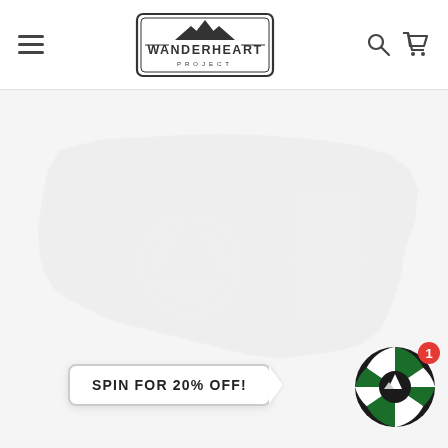[Figure (logo): The Wanderheart Project logo — mountain peaks inside a bordered badge with the text THE WANDERHEART PROJECT]
[Figure (screenshot): E-commerce website hero section showing a faint watermark-style USA map with outdoor/adventure product imagery]
SPIN FOR 20% OFF!
[Figure (infographic): Spin-the-wheel widget in green and white segments with a mountain icon in the center and a red notification badge showing 1]